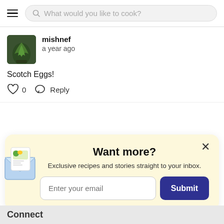What would you like to cook?
mishnef
a year ago

Scotch Eggs!
0  Reply
[Figure (infographic): Newsletter signup popup with envelope illustration, title 'Want more?', subtitle 'Exclusive recipes and stories straight to your inbox.', email input field, and Submit button.]
Connect